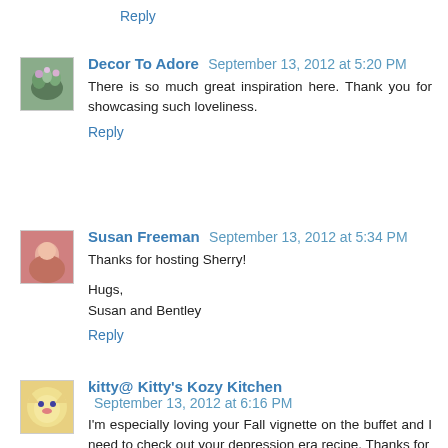Reply
Decor To Adore  September 13, 2012 at 5:20 PM
There is so much great inspiration here. Thank you for showcasing such loveliness.
Reply
Susan Freeman  September 13, 2012 at 5:34 PM
Thanks for hosting Sherry!

Hugs,
Susan and Bentley
Reply
kitty@ Kitty's Kozy Kitchen  September 13, 2012 at 6:16 PM
I'm especially loving your Fall vignette on the buffet and I need to check out your depression era recipe. Thanks for